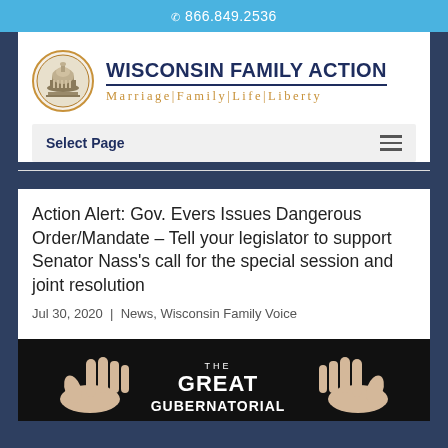866.849.2536
[Figure (logo): Wisconsin Family Action logo with capitol building circle icon, organization name in navy bold text, tagline 'Marriage|Family|Life|Liberty' in gold serif text]
Select Page
Action Alert: Gov. Evers Issues Dangerous Order/Mandate – Tell your legislator to support Senator Nass's call for the special session and joint resolution
Jul 30, 2020 | News, Wisconsin Family Voice
[Figure (photo): Black background image showing two hands framing text 'THE GREAT GUBERNATORIAL']